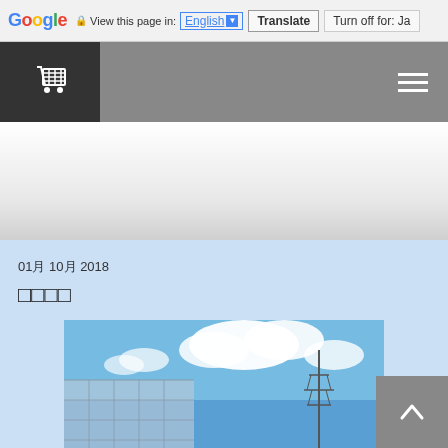Google  View this page in: English ▼  Translate  Turn off for: Ja
[Figure (screenshot): Website navigation bar with shopping cart icon on dark left panel and hamburger menu on gray right area]
[Figure (photo): White and light gray gradient area representing an advertisement zone]
01月 10月 2018
□□□□
[Figure (photo): Photo of a building or structure under blue sky with white clouds, appears to show solar panels or glass facade and a transmission tower]